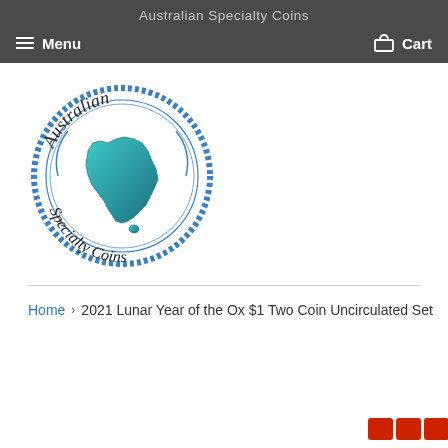Australian Specialty Coins
Menu  Cart
[Figure (logo): Australian Specialty Coins circular logo with teal Australia map in center, dashed border ring, text 'Australian' at top and 'Specialty Coins' at bottom]
Home › 2021 Lunar Year of the Ox $1 Two Coin Uncirculated Set